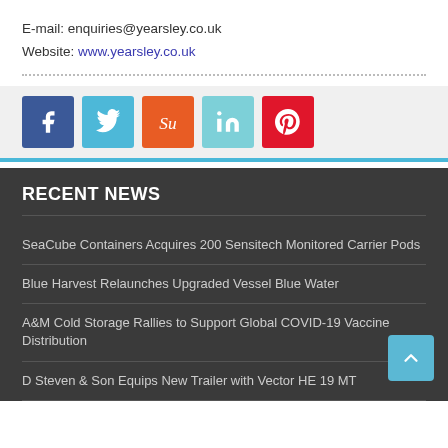E-mail: enquiries@yearsley.co.uk
Website: www.yearsley.co.uk
[Figure (infographic): Social media share buttons: Facebook (blue), Twitter (light blue), StumbleUpon (orange), LinkedIn (teal), Pinterest (red)]
RECENT NEWS
SeaCube Containers Acquires 200 Sensitech Monitored Carrier Pods
Blue Harvest Relaunches Upgraded Vessel Blue Water
A&M Cold Storage Rallies to Support Global COVID-19 Vaccine Distribution
D Steven & Son Equips New Trailer with Vector HE 19 MT